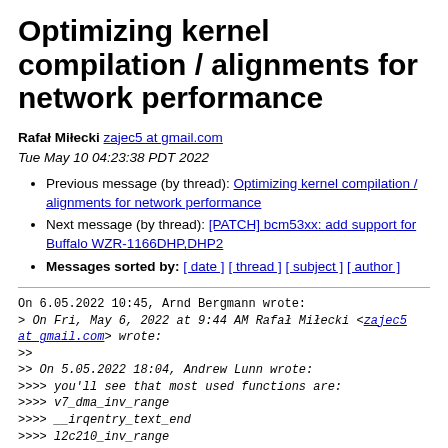Optimizing kernel compilation / alignments for network performance
Rafał Miłecki zajec5 at gmail.com
Tue May 10 04:23:38 PDT 2022
Previous message (by thread): Optimizing kernel compilation / alignments for network performance
Next message (by thread): [PATCH] bcm53xx: add support for Buffalo WZR-1166DHP,DHP2
Messages sorted by: [ date ] [ thread ] [ subject ] [ author ]
On 6.05.2022 10:45, Arnd Bergmann wrote:
> On Fri, May 6, 2022 at 9:44 AM Rafał Miłecki <zajec5 at gmail.com> wrote:
>>
>> On 5.05.2022 18:04, Andrew Lunn wrote:
>>>> you'll see that most used functions are:
>>>> v7_dma_inv_range
>>>> __irqentry_text_end
>>>> l2c210_inv_range